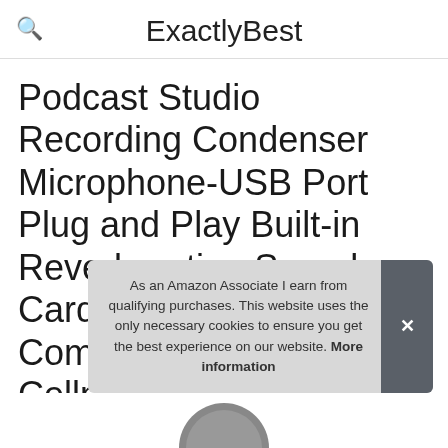ExactlyBest
Podcast Studio Recording Condenser Microphone-USB Port Plug and Play Built-in Reverberating Sound Card Echo Recording Compatible with Cellphone IOS/Android Tablets M…
As a…
As an Amazon Associate I earn from qualifying purchases. This website uses the only necessary cookies to ensure you get the best experience on our website. More information